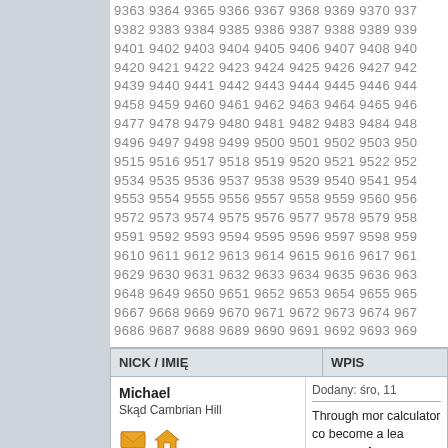9363 9364 9365 9366 9367 9368 9369 9370 937... 9382 9383 9384 9385 9386 9387 9388 9389 939... 9401 9402 9403 9404 9405 9406 9407 9408 940... 9420 9421 9422 9423 9424 9425 9426 9427 942... 9439 9440 9441 9442 9443 9444 9445 9446 944... 9458 9459 9460 9461 9462 9463 9464 9465 946... 9477 9478 9479 9480 9481 9482 9483 9484 948... 9496 9497 9498 9499 9500 9501 9502 9503 950... 9515 9516 9517 9518 9519 9520 9521 9522 952... 9534 9535 9536 9537 9538 9539 9540 9541 954... 9553 9554 9555 9556 9557 9558 9559 9560 956... 9572 9573 9574 9575 9576 9577 9578 9579 958... 9591 9592 9593 9594 9595 9596 9597 9598 959... 9610 9611 9612 9613 9614 9615 9616 9617 961... 9629 9630 9631 9632 9633 9634 9635 9636 963... 9648 9649 9650 9651 9652 9653 9654 9655 965... 9667 9668 9669 9670 9671 9672 9673 9674 967... 9686 9687 9688 9689 9690 9691 9692 9693 969...
| NICK / IMIĘ | WPIS |
| --- | --- |
| Michael
Skąd Cambrian Hill | Dodany: śro, 11
Through mor calculator co become a lea purpose of yo |
| Cristina
Skąd Augathella | Dodany: śro, 11
Just had to n |